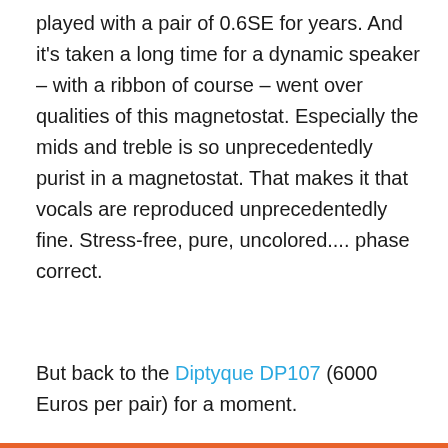played with a pair of 0.6SE for years. And it's taken a long time for a dynamic speaker – with a ribbon of course – went over qualities of this magnetostat. Especially the mids and treble is so unprecedentedly purist in a magnetostat. That makes it that vocals are reproduced unprecedentedly fine. Stress-free, pure, uncolored.... phase correct.
But back to the Diptyque DP107 (6000 Euros per pair) for a moment.